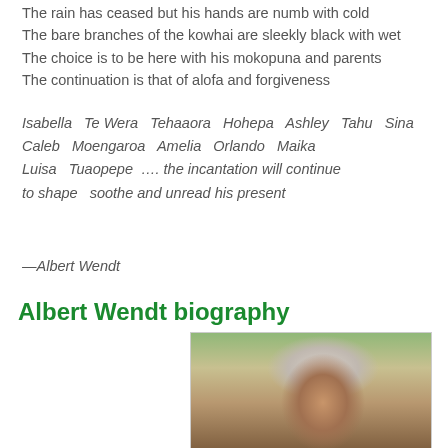The rain has ceased but his hands are numb with cold
The bare branches of the kowhai are sleekly black with wet
The choice is to be here with his mokopuna and parents
The continuation is that of alofa and forgiveness
Isabella  Te Wera  Tehaaora  Hohepa  Ashley  Tahu  Sina  Caleb  Moengaroa  Amelia  Orlando  Maika
Luisa  Tuaopepe ….  the incantation will continue
to shape  soothe and unread his present
—Albert Wendt
Albert Wendt biography
[Figure (photo): Portrait photograph of Albert Wendt, an elderly Pacific man with white/grey hair, dark complexion, looking forward, with green foliage in the background.]